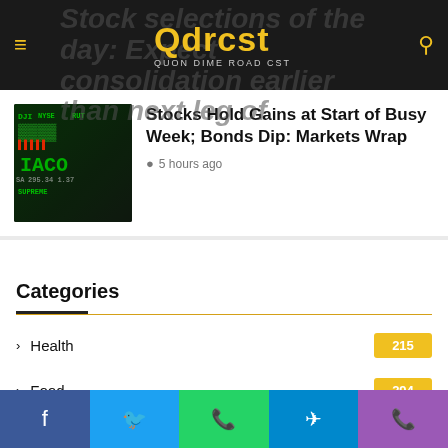Qdrcst — QUON DIME ROAD CST
Stocks Hold Gains at Start of Busy Week; Bonds Dip: Markets Wrap
5 hours ago
Categories
Health  215
Food  294
Technology  51
Services